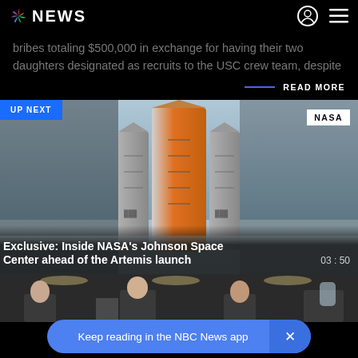NBC NEWS
bribes totaling $500,000 in exchange for having their two daughters designated as recruits to the USC crew team, despite
READ MORE
[Figure (screenshot): Video thumbnail showing NASA rocket/Space Launch System on launch pad with 'UP NEXT' badge and NASA watermark]
Exclusive: Inside NASA's Johnson Space Center ahead of the Artemis launch  03:50
[Figure (photo): Bottom strip showing partial photo of people inside what appears to be an aircraft cabin]
Keep reading in the NBC News app  ×